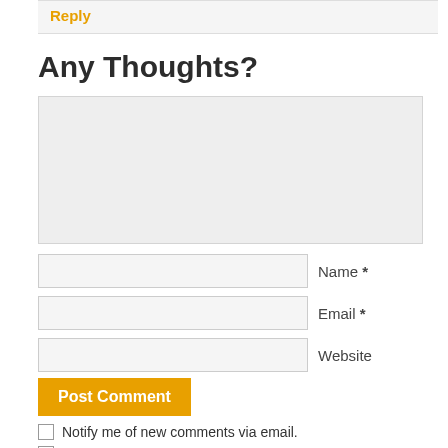Reply
Any Thoughts?
(textarea comment box)
Name *
Email *
Website
Post Comment
Notify me of new comments via email.
Notify me of new posts via email.